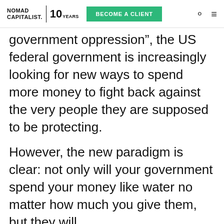NOMAD CAPITALIST. | 10 YEARS   BECOME A CLIENT   [search] [menu]
government oppression”, the US federal government is increasingly looking for new ways to spend more money to fight back against the very people they are supposed to be protecting.
However, the new paradigm is clear: not only will your government spend your money like water no matter how much you give them, but they will